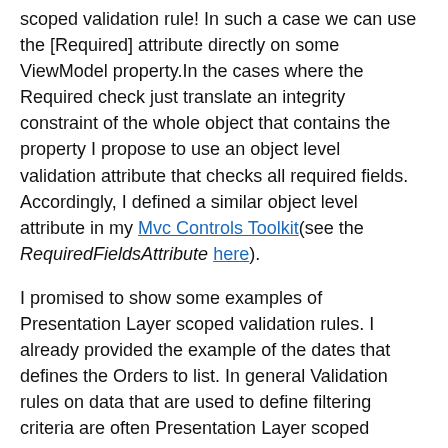scoped validation rule! In such a case we can use the [Required] attribute directly on some ViewModel property.In the cases where the Required check just translate an integrity constraint of the whole object that contains the property I propose to use an object level validation attribute that checks all required fields. Accordingly, I defined a similar object level attribute in my Mvc Controls Toolkit(see the RequiredFieldsAttribute here).
I promised to show some examples of Presentation Layer scoped validation rules. I already provided the example of the dates that defines the Orders to list. In general Validation rules on data that are used to define filtering criteria are often Presentation Layer scoped Validation rules.
[Figure (other): LinkedIn Share button and Twitter Tweet button]
Tags: Validation, Data Annotations, Data Validation, MVC Controls Toolkit